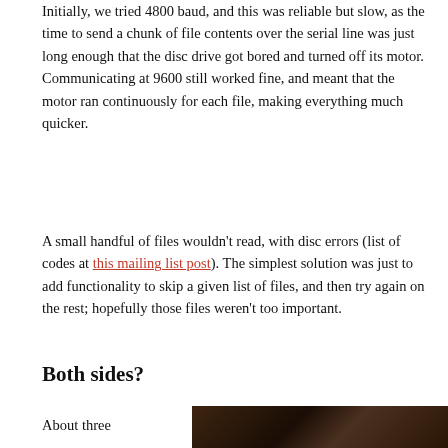Initially, we tried 4800 baud, and this was reliable but slow, as the time to send a chunk of file contents over the serial line was just long enough that the disc drive got bored and turned off its motor. Communicating at 9600 still worked fine, and meant that the motor ran continuously for each file, making everything much quicker.
A small handful of files wouldn't read, with disc errors (list of codes at this mailing list post). The simplest solution was just to add functionality to skip a given list of files, and then try again on the rest; hopefully those files weren't too important.
Both sides?
About three
[Figure (photo): Partial photo of what appears to be wooden or vintage hardware, dark brown tones, bottom-right of page]